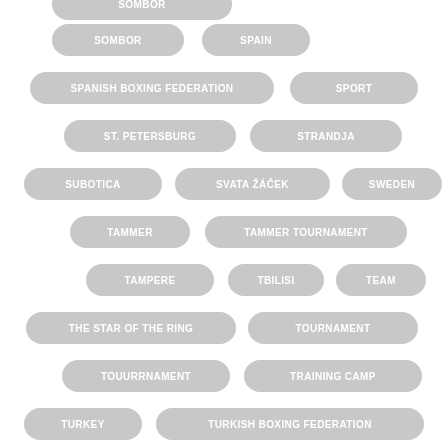SOMBOR
SPAIN
SPANISH BOXING FEDERATION
SPORT
ST. PETERSBURG
STRANDJA
SUBOTICA
SVATA ŽÁČEK
SWEDEN
TAMMER
TAMMER TOURNAMENT
TAMPERE
TBILISI
TEAM
THE STAR OF THE RING
TOURNAMENT
TOUURRNAMENT
TRAINING CAMP
TURKEY
TURKISH BOXING FEDERATION